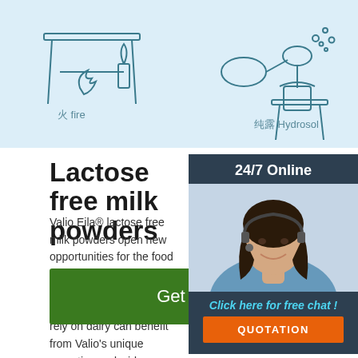[Figure (illustration): Light blue banner with Chinese/English labeled line-art icons: fire (火 fire), a plant/candle, a hydrosol distillation setup (纯露 Hydrosol), and other equipment silhouettes on stands]
Lactose free milk powders
Valio Eila® lactose free milk powders open new opportunities for the food industry. Confectionery, ice cream, dairy, ready meal and other industries that rely on dairy can benefit from Valio's unique expertise and wide portfolio to create value added products that meet consumer needs and open new markets.. Globally over 70% of population suffer from unpleasant stomach ...
[Figure (photo): 24/7 Online customer service representative — smiling woman with headset, dark hair, blue shirt, on dark navy background with '24/7 Online' header, 'Click here for free chat!' prompt in light blue italic text, and orange QUOTATION button]
Get Price
[Figure (logo): Orange dotted triangle/mountain icon above bold orange text 'TOP']